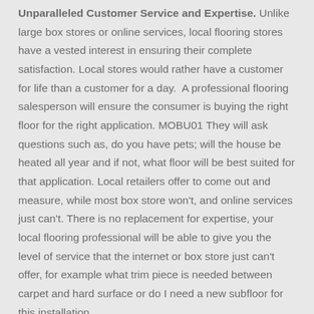Unparalleled Customer Service and Expertise. Unlike large box stores or online services, local flooring stores have a vested interest in ensuring their complete satisfaction. Local stores would rather have a customer for life than a customer for a day.  A professional flooring salesperson will ensure the consumer is buying the right floor for the right application. MOBU01 They will ask questions such as, do you have pets; will the house be heated all year and if not, what floor will be best suited for that application. Local retailers offer to come out and measure, while most box store won't, and online services just can't. There is no replacement for expertise, your local flooring professional will be able to give you the level of service that the internet or box store just can't offer, for example what trim piece is needed between carpet and hard surface or do I need a new subfloor for this installation.
Established Reputation. Chances are the consumer has ...